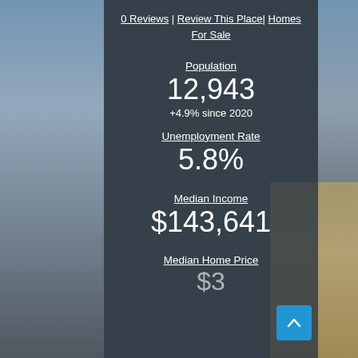0 Reviews | Review This Place| Homes For Sale
Population
12,943
+4.9% since 2020
Unemployment Rate
5.8%
Median Income
$143,641
Median Home Price